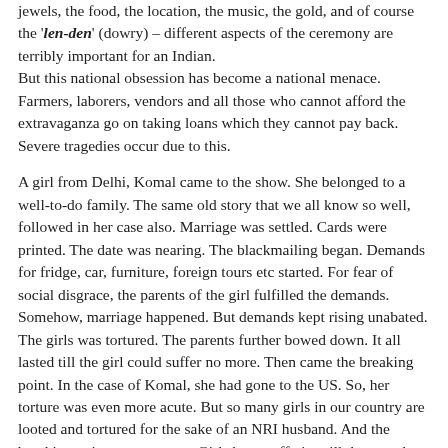jewels, the food, the location, the music, the gold, and of course the 'len-den' (dowry) – different aspects of the ceremony are terribly important for an Indian.
But this national obsession has become a national menace. Farmers, laborers, vendors and all those who cannot afford the extravaganza go on taking loans which they cannot pay back. Severe tragedies occur due to this.
A girl from Delhi, Komal came to the show. She belonged to a well-to-do family. The same old story that we all know so well, followed in her case also. Marriage was settled. Cards were printed. The date was nearing. The blackmailing began. Demands for fridge, car, furniture, foreign tours etc started. For fear of social disgrace, the parents of the girl fulfilled the demands. Somehow, marriage happened. But demands kept rising unabated. The girls was tortured. The parents further bowed down. It all lasted till the girl could suffer no more. Then came the breaking point. In the case of Komal, she had gone to the US. So, her torture was even more acute. But so many girls in our country are looted and tortured for the sake of an NRI husband. And the breaking point never comes. Girls keep suffering till they reach the stage where they can make others suffer.